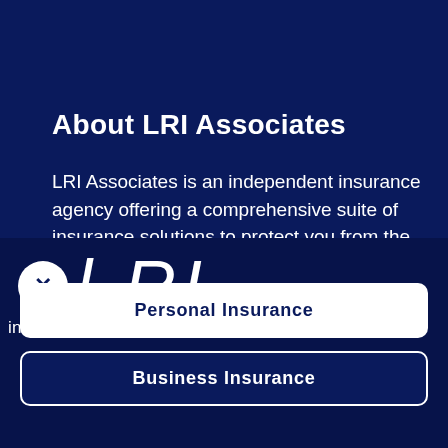About LRI Associates
LRI Associates is an independent insurance agency offering a comprehensive suite of insurance solutions to protect you from the unexpected.
[Figure (logo): LRI logo — circle with X close button and large italic LRI text in white on dark navy background]
insurance you recognize from a local, trusted age
Personal Insurance
Business Insurance